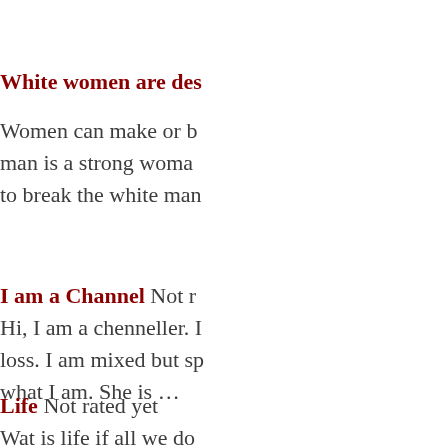White women are des…
Women can make or b… man is a strong woma… to break the white man…
I am a Channel Not r… Hi, I am a chenneller. … loss. I am mixed but sp… what I am. She is …
Life Not rated yet Wat is life if all we do … us were losing everyth…